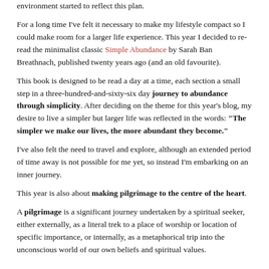environment started to reflect this plan.
For a long time I've felt it necessary to make my lifestyle compact so I could make room for a larger life experience. This year I decided to re-read the minimalist classic Simple Abundance by Sarah Ban Breathnach, published twenty years ago (and an old favourite).
This book is designed to be read a day at a time, each section a small step in a three-hundred-and-sixty-six day journey to abundance through simplicity. After deciding on the theme for this year's blog, my desire to live a simpler but larger life was reflected in the words: "The simpler we make our lives, the more abundant they become."
I've also felt the need to travel and explore, although an extended period of time away is not possible for me yet, so instead I'm embarking on an inner journey.
This year is also about making pilgrimage to the centre of the heart.
A pilgrimage is a significant journey undertaken by a spiritual seeker, either externally, as a literal trek to a place of worship or location of specific importance, or internally, as a metaphorical trip into the unconscious world of our own beliefs and spiritual values.